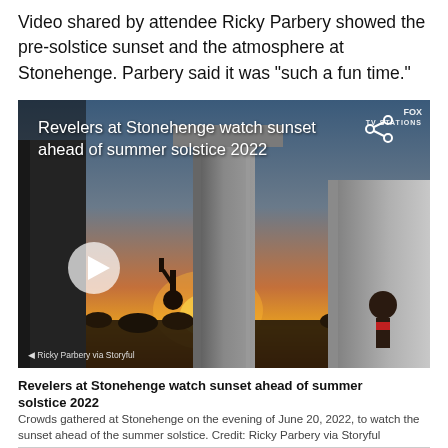Video shared by attendee Ricky Parbery showed the pre-solstice sunset and the atmosphere at Stonehenge. Parbery said it was "such a fun time."
[Figure (screenshot): Video thumbnail showing Revelers at Stonehenge watch sunset ahead of summer solstice 2022. Shows Stonehenge stones with crowd and sunset in background, Fox News logo top right, share icon, play button, and watermark 'Ricky Parbery via Storyful'.]
Revelers at Stonehenge watch sunset ahead of summer solstice 2022
Crowds gathered at Stonehenge on the evening of June 20, 2022, to watch the sunset ahead of the summer solstice. Credit: Ricky Parbery via Storyful